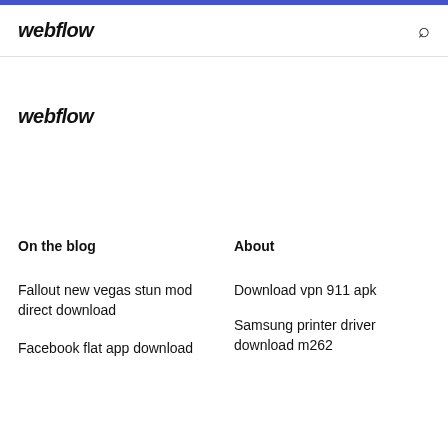webflow
webflow
On the blog
About
Fallout new vegas stun mod direct download
Facebook flat app download
Download vpn 911 apk
Samsung printer driver download m262